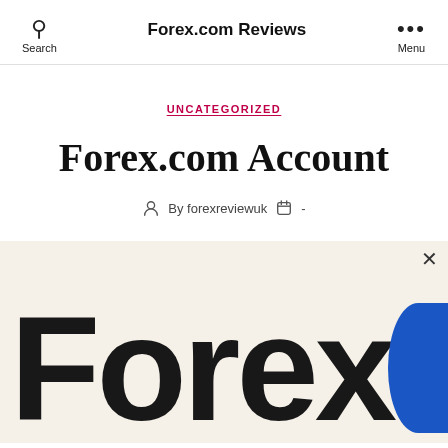Forex.com Reviews
UNCATEGORIZED
Forex.com Account
By forexreviewuk  -
[Figure (logo): Forex.com logo — large bold black text 'Forex' with blue circle partially visible on the right, on a light cream/beige background with a close (×) button.]